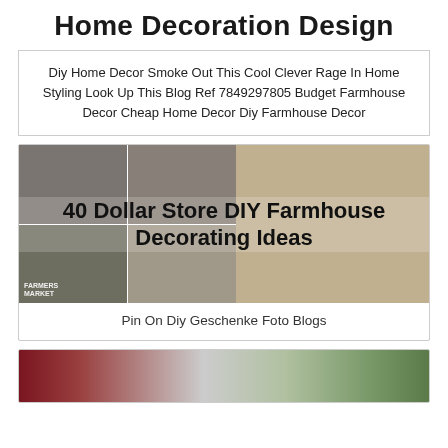Home Decoration Design
Diy Home Decor Smoke Out This Cool Clever Rage In Home Styling Look Up This Blog Ref 7849297805 Budget Farmhouse Decor Cheap Home Decor Diy Farmhouse Decor
[Figure (photo): Collage of farmhouse DIY decor items with overlay text reading '40 Dollar Store DIY Farmhouse Decorating Ideas']
Pin On Diy Geschenke Foto Blogs
[Figure (photo): Partial image of home decoration items including flowers and greenery at the bottom of the page]